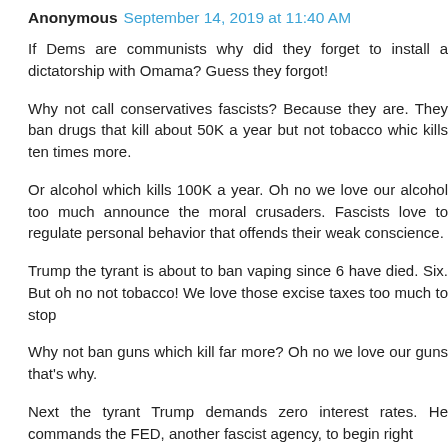Anonymous September 14, 2019 at 11:40 AM
If Dems are communists why did they forget to install a dictatorship with Omama? Guess they forgot!
Why not call conservatives fascists? Because they are. They ban drugs that kill about 50K a year but not tobacco whic kills ten times more.
Or alcohol which kills 100K a year. Oh no we love our alcohol too much announce the moral crusaders. Fascists love to regulate personal behavior that offends their weak conscience.
Trump the tyrant is about to ban vaping since 6 have died. Six. But oh no not tobacco! We love those excise taxes too much to stop
Why not ban guns which kill far more? Oh no we love our guns that's why.
Next the tyrant Trump demands zero interest rates. He commands the FED, another fascist agency, to begin right